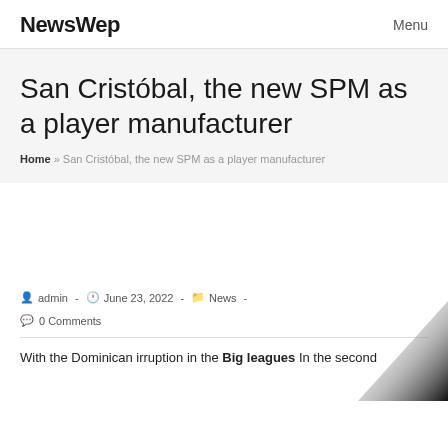NewsWep   Menu
San Cristóbal, the new SPM as a player manufacturer
Home » San Cristóbal, the new SPM as a player manufacturer
[Figure (other): Dark gradient triangle decorative corner image]
admin  -  June 23, 2022  -  News  -  0 Comments
With the Dominican irruption in the Big leagues In the second